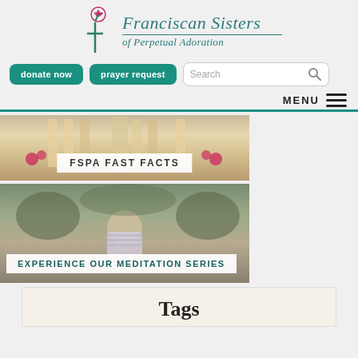[Figure (logo): Franciscan Sisters of Perpetual Adoration logo with rose and cross]
donate now
prayer request
Search
MENU
[Figure (photo): Church interior with ornate altar, flowers; overlay text: FSPA FAST FACTS]
[Figure (photo): Person meditating outdoors with hands folded; overlay text: EXPERIENCE OUR MEDITATION SERIES]
Tags